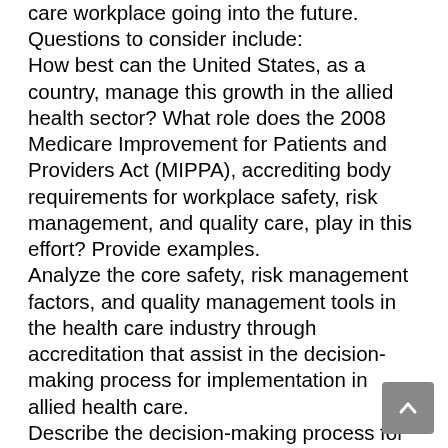care workplace going into the future. Questions to consider include: How best can the United States, as a country, manage this growth in the allied health sector? What role does the 2008 Medicare Improvement for Patients and Providers Act (MIPPA), accrediting body requirements for workplace safety, risk management, and quality care, play in this effort? Provide examples. Analyze the core safety, risk management factors, and quality management tools in the health care industry through accreditation that assist in the decision-making process for implementation in allied health care. Describe the decision-making process for safety, risk management, and quality management in allied health care.